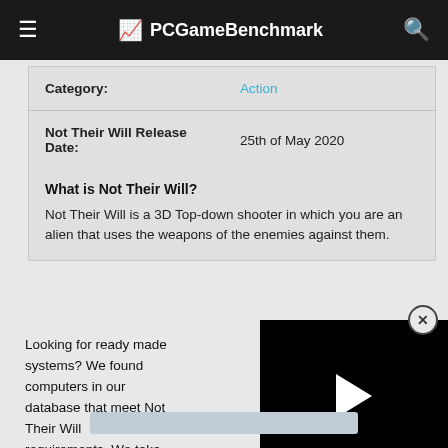PCGameBenchmark
| Category: | Action |
| Not Their Will Release Date: | 25th of May 2020 |
| What is Not Their Will?
Not Their Will is a 3D Top-down shooter in which you are an alien that uses the weapons of the enemies against them. |  |
[Figure (screenshot): Video player overlay with black background and white play button triangle]
Looking for ready made systems? We found 0 computers in our database that meet Not Their Will requirements. We take over 68 gaming laptops and laptops in our full compare laptops chart for the game or click on the best deals we've picked out below.